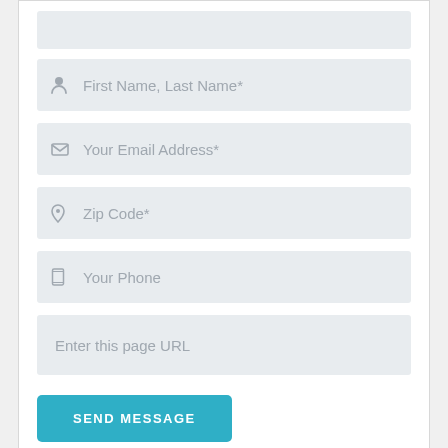[Figure (screenshot): Web contact form with fields: First Name Last Name, Your Email Address, Zip Code, Your Phone, Enter this page URL, and a SEND MESSAGE button]
First Name, Last Name*
Your Email Address*
Zip Code*
Your Phone
Enter this page URL
SEND MESSAGE